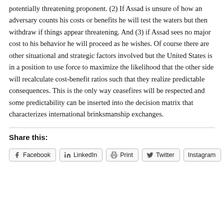potentially threatening proponent. (2) If Assad is unsure of how an adversary counts his costs or benefits he will test the waters but then withdraw if things appear threatening. And (3) if Assad sees no major cost to his behavior he will proceed as he wishes. Of course there are other situational and strategic factors involved but the United States is in a position to use force to maximize the likelihood that the other side will recalculate cost-benefit ratios such that they realize predictable consequences. This is the only way ceasefires will be respected and some predictability can be inserted into the decision matrix that characterizes international brinksmanship exchanges.
Share this:
Facebook
LinkedIn
Print
Twitter
Instagram